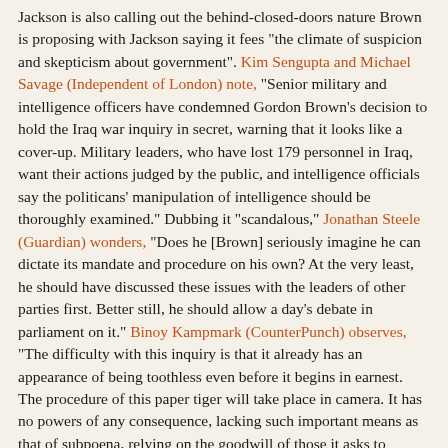Jackson is also calling out the behind-closed-doors nature Brown is proposing with Jackson saying it fees "the climate of suspicion and skepticism about government". Kim Sengupta and Michael Savage (Independent of London) note, "Senior military and intelligence officers have condemned Gordon Brown's decision to hold the Iraq war inquiry in secret, warning that it looks like a cover-up. Military leaders, who have lost 179 personnel in Iraq, want their actions judged by the public, and intelligence officials say the politicans' manipulation of intelligence should be thoroughly examined." Dubbing it "scandalous," Jonathan Steele (Guardian) wonders, "Does he [Brown] seriously imagine he can dictate its mandate and procedure on his own? At the very least, he should have discussed these issues with the leaders of other parties first. Better still, he should allow a day's debate in parliament on it." Binoy Kampmark (CounterPunch) observes, "The difficulty with this inquiry is that it already has an appearance of being toothless even before it begins in earnest. The procedure of this paper tiger will take place in camera. It has no powers of any consequence, lacking such important means as that of subpoena, relying on the goodwill of those it asks to attend. (Tony Blair will, in all probability attend to spite his long time rival, though he need not.) Evidence need not be given on oath. When ultimately published, sensitive material will be abridged for the public readership."